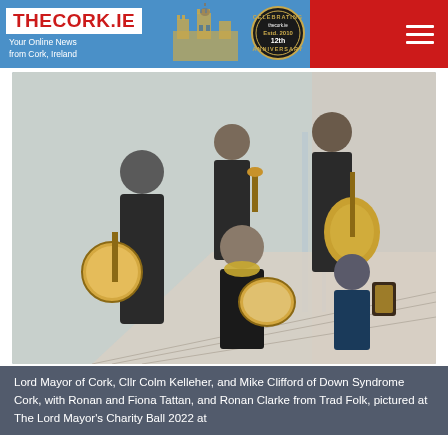THECORK.IE — Your Online News from Cork, Ireland
[Figure (photo): Group photo of Lord Mayor of Cork Cllr Colm Kelleher and Mike Clifford of Down Syndrome Cork, with Ronan and Fiona Tattan, and Ronan Clarke from Trad Folk, pictured on stairs with musical instruments including banjo, guitar, violin, and bodhrán at a shopping centre]
Lord Mayor of Cork, Cllr Colm Kelleher, and Mike Clifford of Down Syndrome Cork, with Ronan and Fiona Tattan, and Ronan Clarke from Trad Folk, pictured at The Lord Mayor's Charity Ball 2022 at